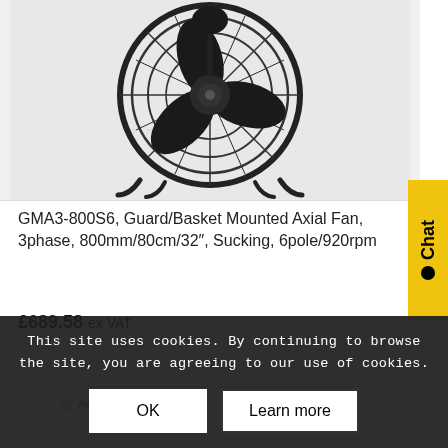[Figure (photo): Black axial fan with guard/basket, viewed from the front, showing fan blades and wire guard cage on white background with a faint company logo (stylized 'ab' letters).]
GMA3-800S6, Guard/Basket Mounted Axial Fan, 3phase, 800mm/80cm/32″, Sucking, 6pole/920rpm
£689.58 ex VAT
Add to basket   Show Details
This site uses cookies. By continuing to browse the site, you are agreeing to our use of cookies.
OK
Learn more